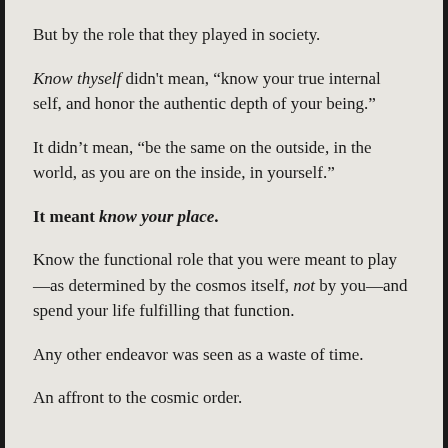But by the role that they played in society.
Know thyself didn't mean, “know your true internal self, and honor the authentic depth of your being.”
It didn’t mean, “be the same on the outside, in the world, as you are on the inside, in yourself.”
It meant know your place.
Know the functional role that you were meant to play—as determined by the cosmos itself, not by you—and spend your life fulfilling that function.
Any other endeavor was seen as a waste of time.
An affront to the cosmic order.